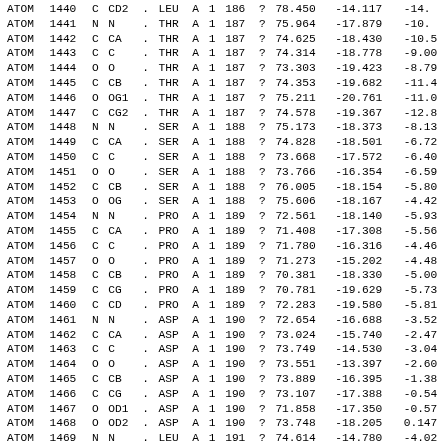| type | serial | element | name | alt | resname | chain | model | seqnum | ins | x | y | z |
| --- | --- | --- | --- | --- | --- | --- | --- | --- | --- | --- | --- | --- |
| ATOM | 1440 | C | CD2 | . | LEU | A | 1 | 186 | ? | 78.450 | -14.117 | -14. |
| ATOM | 1441 | N | N | . | THR | A | 1 | 187 | ? | 75.964 | -17.879 | -10. |
| ATOM | 1442 | C | CA | . | THR | A | 1 | 187 | ? | 74.625 | -18.430 | -10.5 |
| ATOM | 1443 | C | C | . | THR | A | 1 | 187 | ? | 74.314 | -18.778 | -9.00 |
| ATOM | 1444 | O | O | . | THR | A | 1 | 187 | ? | 73.303 | -19.423 | -8.79 |
| ATOM | 1445 | C | CB | . | THR | A | 1 | 187 | ? | 74.353 | -19.682 | -11.4 |
| ATOM | 1446 | O | OG1 | . | THR | A | 1 | 187 | ? | 75.211 | -20.761 | -11.0 |
| ATOM | 1447 | C | CG2 | . | THR | A | 1 | 187 | ? | 74.578 | -19.367 | -12.8 |
| ATOM | 1448 | N | N | . | SER | A | 1 | 188 | ? | 75.173 | -18.373 | -8.13 |
| ATOM | 1449 | C | CA | . | SER | A | 1 | 188 | ? | 74.828 | -18.501 | -6.72 |
| ATOM | 1450 | C | C | . | SER | A | 1 | 188 | ? | 73.668 | -17.572 | -6.40 |
| ATOM | 1451 | O | O | . | SER | A | 1 | 188 | ? | 73.766 | -16.354 | -6.59 |
| ATOM | 1452 | C | CB | . | SER | A | 1 | 188 | ? | 76.005 | -18.154 | -5.80 |
| ATOM | 1453 | O | OG | . | SER | A | 1 | 188 | ? | 75.606 | -18.167 | -4.42 |
| ATOM | 1454 | N | N | . | PRO | A | 1 | 189 | ? | 72.561 | -18.140 | -5.93 |
| ATOM | 1455 | C | CA | . | PRO | A | 1 | 189 | ? | 71.408 | -17.308 | -5.56 |
| ATOM | 1456 | C | C | . | PRO | A | 1 | 189 | ? | 71.780 | -16.316 | -4.46 |
| ATOM | 1457 | O | O | . | PRO | A | 1 | 189 | ? | 71.273 | -15.202 | -4.48 |
| ATOM | 1458 | C | CB | . | PRO | A | 1 | 189 | ? | 70.381 | -18.330 | -5.00 |
| ATOM | 1459 | C | CG | . | PRO | A | 1 | 189 | ? | 70.781 | -19.629 | -5.73 |
| ATOM | 1460 | C | CD | . | PRO | A | 1 | 189 | ? | 72.283 | -19.580 | -5.81 |
| ATOM | 1461 | N | N | . | ASP | A | 1 | 190 | ? | 72.654 | -16.688 | -3.52 |
| ATOM | 1462 | C | CA | . | ASP | A | 1 | 190 | ? | 73.024 | -15.740 | -2.47 |
| ATOM | 1463 | C | C | . | ASP | A | 1 | 190 | ? | 73.749 | -14.530 | -3.04 |
| ATOM | 1464 | O | O | . | ASP | A | 1 | 190 | ? | 73.551 | -13.397 | -2.60 |
| ATOM | 1465 | C | CB | . | ASP | A | 1 | 190 | ? | 73.889 | -16.395 | -1.38 |
| ATOM | 1466 | C | CG | . | ASP | A | 1 | 190 | ? | 73.107 | -17.388 | -0.54 |
| ATOM | 1467 | O | OD1 | . | ASP | A | 1 | 190 | ? | 71.858 | -17.350 | -0.57 |
| ATOM | 1468 | O | OD2 | . | ASP | A | 1 | 190 | ? | 73.748 | -18.205 | 0.147 |
| ATOM | 1469 | N | N | . | LEU | A | 1 | 191 | ? | 74.614 | -14.780 | -4.02 |
| ATOM | 1470 | C | CA | . | LEU | A | 1 | 191 | ? | 75.000 | -13.700 | -4.08 |